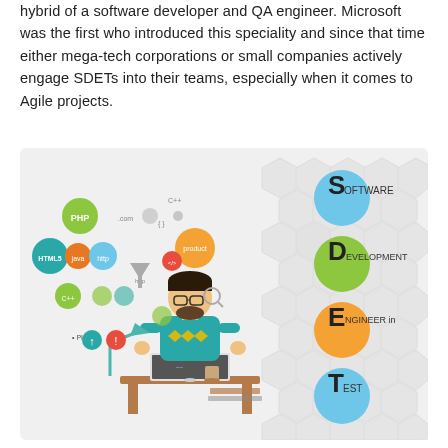hybrid of a software developer and QA engineer. Microsoft was the first who introduced this speciality and since that time either mega-tech corporations or small companies actively engage SDETs into their teams, especially when it comes to Agile projects.
[Figure (illustration): Illustration of a developer sitting at a desk with technology bubbles (PHP, HTML5, C++, http, product, etc.) floating around, beside a vertical acronym: S-Software, D-Development, E-Engineer in, T-Test, with colored circles (blue, green, orange, teal) on a hexagonal pattern background.]